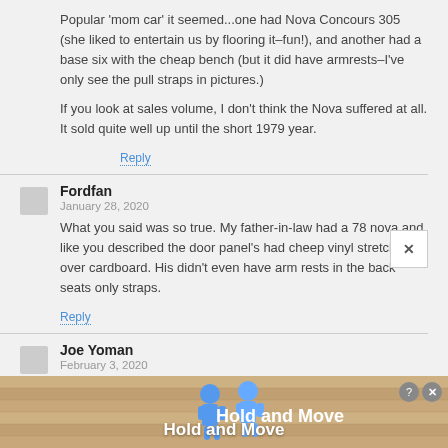Popular ‘mom car’ it seemed...one had Nova Concours 305 (she liked to entertain us by flooring it–fun!), and another had a base six with the cheap bench (but it did have armrests–I’ve only see the pull straps in pictures)
If you look at sales volume, I don’t think the Nova suffered at all. It sold quite well up until the short 1979 year.
Reply
Fordfan
January 28, 2020
What you said was so true. My father-in-law had a 78 nova and like you described the door panel’s had cheep vinyl stretched over cardboard. His didn’t even have arm rests in the back seats only straps.
Reply
Joe Yoman
February 3, 2020
Purchasing a step up model in any of these X body cars was a must from what I can remember, even at Buick. I remember looking at numerous 75-78 Novas in the car lots...
[Figure (screenshot): Advertisement banner at bottom showing 'Hold and Move' app with cartoon characters, with close and help buttons]